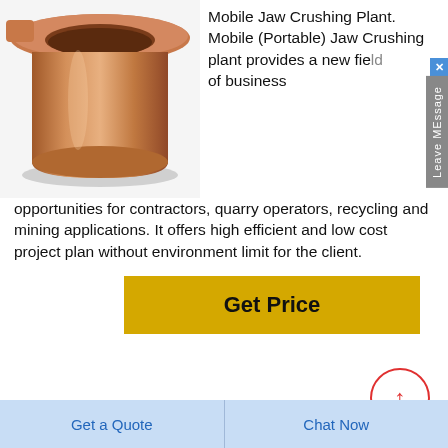[Figure (photo): Bronze/copper bushing component, cylindrical cup shape with flanged top, warm copper-rose color]
Mobile Jaw Crushing Plant. Mobile (Portable) Jaw Crushing plant provides a new field of business opportunities for contractors, quarry operators, recycling and mining applications. It offers high efficient and low cost project plan without environment limit for the client.
Get Price
[Figure (photo): Gold/brass toothed gear ring component]
Inspection Checklist For Mobile Crush...
Get a Quote
Chat Now